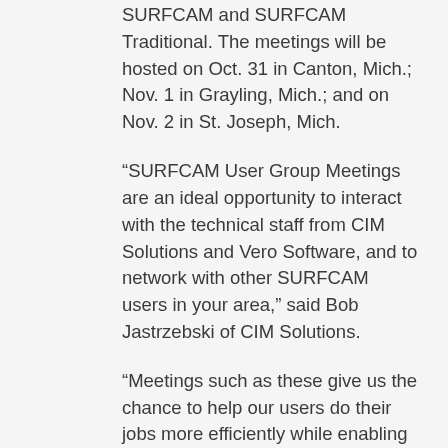SURFCAM and SURFCAM Traditional. The meetings will be hosted on Oct. 31 in Canton, Mich.; Nov. 1 in Grayling, Mich.; and on Nov. 2 in St. Joseph, Mich.
“SURFCAM User Group Meetings are an ideal opportunity to interact with the technical staff from CIM Solutions and Vero Software, and to network with other SURFCAM users in your area,” said Bob Jastrzebski of CIM Solutions.
“Meetings such as these give us the chance to help our users do their jobs more efficiently while enabling us to hear their feedback and better understand their machining challenges,” said Chris Ewald, SURFCAM sales manager.
Designed to offer more than technical overviews, SURFCAM User Group Meetings serve as a platform for valuable discussion between users and the SURFCAM team, as well as for insightful peer interaction.
While there is no charge to attend the user-group